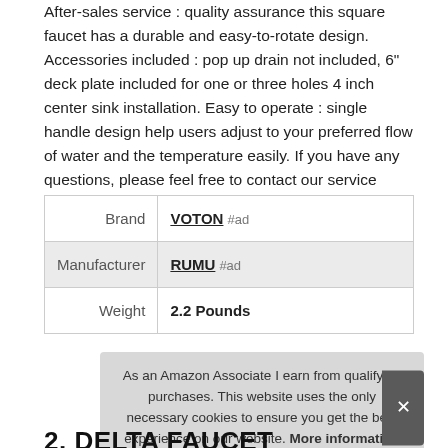After-sales service : quality assurance this square faucet has a durable and easy-to-rotate design. Accessories included : pop up drain not included, 6" deck plate included for one or three holes 4 inch center sink installation. Easy to operate : single handle design help users adjust to your preferred flow of water and the temperature easily. If you have any questions, please feel free to contact our service team.
|  |  |
| --- | --- |
| Brand | VOTON #ad |
| Manufacturer | RUMU #ad |
| Weight | 2.2 Pounds |
As an Amazon Associate I earn from qualifying purchases. This website uses the only necessary cookies to ensure you get the best experience on our website. More information
2. DELTA FAUCET